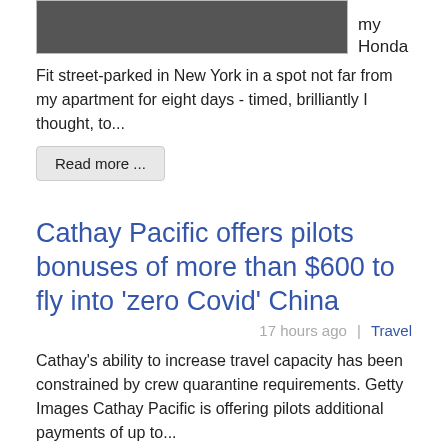[Figure (photo): Dark photograph, partially cropped at top of page]
my Honda Fit street-parked in New York in a spot not far from my apartment for eight days - timed, brilliantly I thought, to...
Read more ...
Cathay Pacific offers pilots bonuses of more than $600 to fly into 'zero Covid' China
17 hours ago  |  Travel
Cathay's ability to increase travel capacity has been constrained by crew quarantine requirements. Getty Images Cathay Pacific is offering pilots additional payments of up to...
Read more ...
The crew of a passenger plane didn't notice it was descending for almost